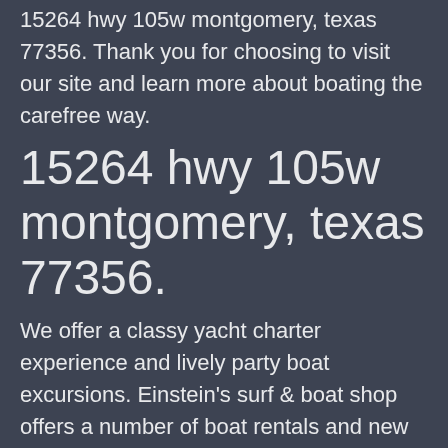15264 hwy 105w montgomery, texas 77356. Thank you for choosing to visit our site and learn more about boating the carefree way.
15264 hwy 105w montgomery, texas 77356.
We offer a classy yacht charter experience and lively party boat excursions. Einstein's surf & boat shop offers a number of boat rentals and new to their fleet of boats is a 35 person party barge that they are opening up to the . Get directions · rating · 4.6. Yacht charters, party barge excursions, slip rentals & more. 15264 hwy 105w montgomery, texas 77356.
We have a team of professionals! Whether...